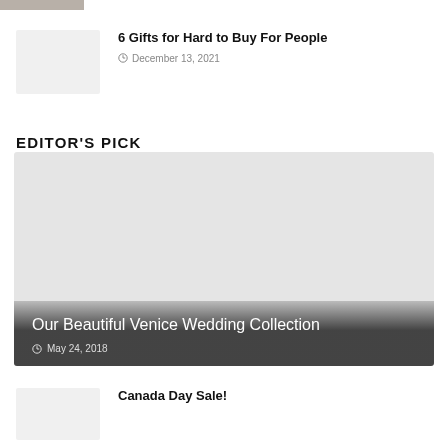[Figure (photo): Partial thumbnail image cut off at top of page]
6 Gifts for Hard to Buy For People
December 13, 2021
EDITOR'S PICK
[Figure (photo): Large featured image placeholder for Venice Wedding Collection article with dark gradient overlay]
Our Beautiful Venice Wedding Collection
May 24, 2018
Canada Day Sale!